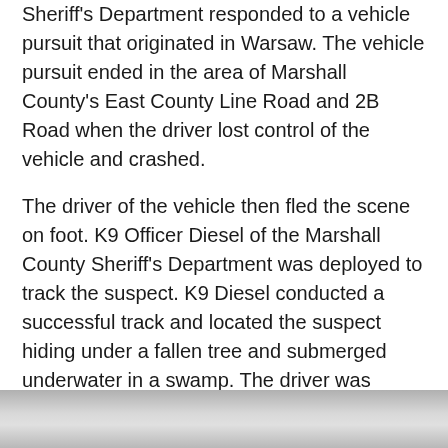Sheriff's Department responded to a vehicle pursuit that originated in Warsaw. The vehicle pursuit ended in the area of Marshall County's East County Line Road and 2B Road when the driver lost control of the vehicle and crashed.
The driver of the vehicle then fled the scene on foot. K9 Officer Diesel of the Marshall County Sheriff's Department was deployed to track the suspect. K9 Diesel conducted a successful track and located the suspect hiding under a fallen tree and submerged underwater in a swamp. The driver was identified as 27-year-old Ryan Kreft of Bristol.
[Figure (photo): Partial photo visible at bottom of page, appears to show a vehicle or outdoor scene, mostly cropped out.]